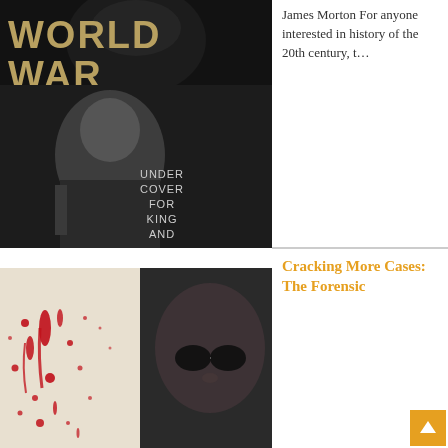[Figure (photo): Book cover of 'Under Cover for King and Kaiser' showing a black and white portrait of a man in military uniform with the book title text overlaid. The words 'WORLD WAR' appear in large letters at top left, and 'UNDER COVER FOR KING AND KAISER' in smaller letters at center right.]
James Morton For anyone interested in history of the 20th century, t...
Cracking More Cases: The Forensic
[Figure (photo): Book cover showing a forensic/crime scene image: a white surface with red blood splatter on the left, and a close-up black and white photo of a person wearing round dark glasses on the right.]